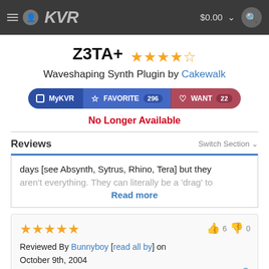KVR $0.00
Z3TA+ ★★★★½ Waveshaping Synth Plugin by Cakewalk
MyKVR | FAVORITE 296 | WANT 22
No Longer Available
Reviews   Switch Section
days [see Absynth, Sytrus, Rhino, Tera] but they aren't everything. They can literally be a 'drag' to Read more
Reviewed By Bunnyboy [read all by] on October 9th, 2004
Version reviewed: 1.4 on Windows